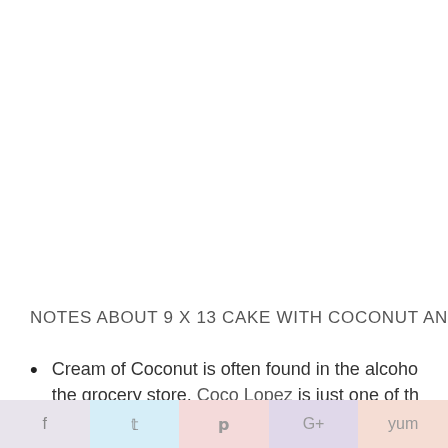NOTES ABOUT 9 X 13 CAKE WITH COCONUT AND
Cream of Coconut is often found in the alcoho the grocery store. Coco Lopez is just one of th are available.
f  t  p  G+  yum